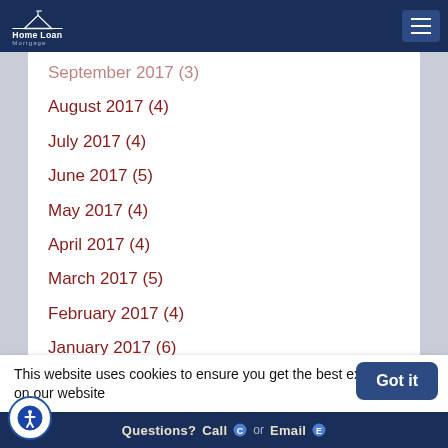Home Loan Mortgage
September 2017 (3)
August 2017 (4)
July 2017 (4)
June 2017 (5)
May 2017 (4)
April 2017 (4)
March 2017 (5)
February 2017 (4)
January 2017 (6)
December 2016 (5)
November 2016 (3)
This website uses cookies to ensure you get the best experience on our website
Questions? Call or Email